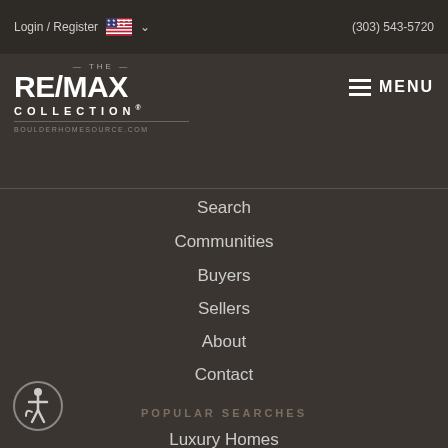Login / Register  (303) 543-5720
[Figure (logo): RE/MAX Collection logo with text THE RE/MAX COLLECTION and BOULDERHOMESOURCE.COM]
Search
Communities
Buyers
Sellers
About
Contact
POPULAR SEARCHES
Luxury Homes
New Listings
Featured Listings
Mountain View Homes
New Construction